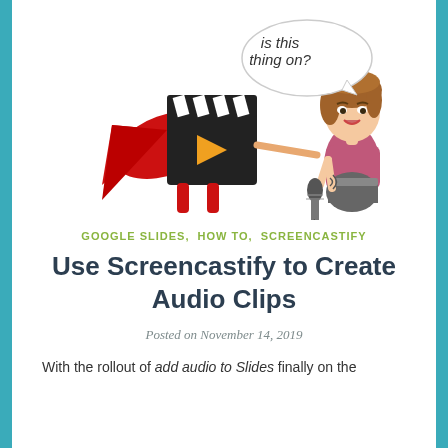[Figure (illustration): Cartoon illustration: a superhero movie clapperboard character with red cape on the left, and a Bitmoji-style woman holding a microphone on the right with a speech bubble saying 'is this thing on?']
GOOGLE SLIDES, HOW TO, SCREENCASTIFY
Use Screencastify to Create Audio Clips
Posted on November 14, 2019
With the rollout of add audio to Slides finally on the